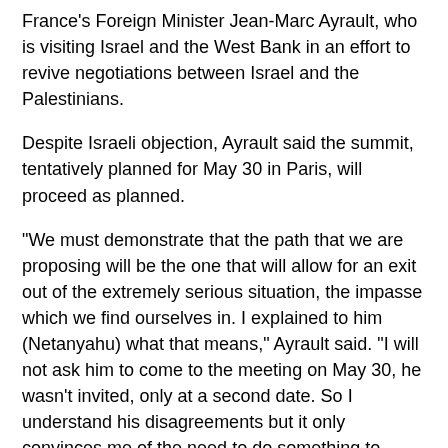France's Foreign Minister Jean-Marc Ayrault, who is visiting Israel and the West Bank in an effort to revive negotiations between Israel and the Palestinians.
Despite Israeli objection, Ayrault said the summit, tentatively planned for May 30 in Paris, will proceed as planned.
"We must demonstrate that the path that we are proposing will be the one that will allow for an exit out of the extremely serious situation, the impasse which we find ourselves in. I explained to him (Netanyahu) what that means," Ayrault said. "I will not ask him to come to the meeting on May 30, he wasn't invited, only at a second date. So I understand his disagreements but it only convinces me of the need to do something to move this impasse," he said, adding that he spoke "frankly" with the Israeli prime minister.
The Palestinians, who have welcomed the French proposal, also said it will be held as planned. Nabil Abu Rdeneh, an adviser to the Palestinian president said: "The French and Arab efforts are ongoing and are quickly on the right track to hold the international peace conference."